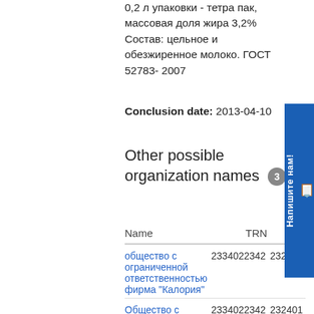0,2 л упаковки - тетра пак, массовая доля жира 3,2% Состав: цельное и обезжиренное молоко. ГОСТ 52783- 2007
Conclusion date: 2013-04-10
Other possible organization names 3
| Name | TRN | TI |
| --- | --- | --- |
| общество с ограниченной ответственностью фирма "Калория" | 2334022342 | 232340 |
| Общество с | 2334022342 | 232401 |